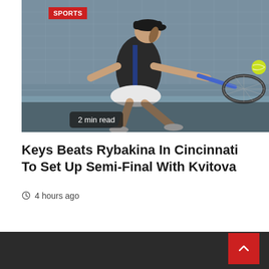[Figure (photo): Female tennis player in dark athletic wear lunging to hit a backhand shot on a court, tennis net visible in the background. Red 'SPORTS' badge in top-left corner. '2 min read' badge in lower-left of the image.]
Keys Beats Rybakina In Cincinnati To Set Up Semi-Final With Kvitova
4 hours ago